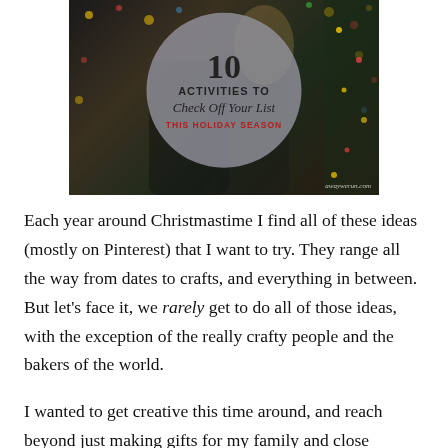[Figure (photo): Photo of two people near a Christmas tree with lights, overlaid with a gray circle containing text: '10 Activities To Check Off Your List This Holiday Season' and watermark 'awaywerun.com']
Each year around Christmastime I find all of these ideas (mostly on Pinterest) that I want to try. They range all the way from dates to crafts, and everything in between. But let's face it, we rarely get to do all of those ideas, with the exception of the really crafty people and the bakers of the world.
I wanted to get creative this time around, and reach beyond just making gifts for my family and close